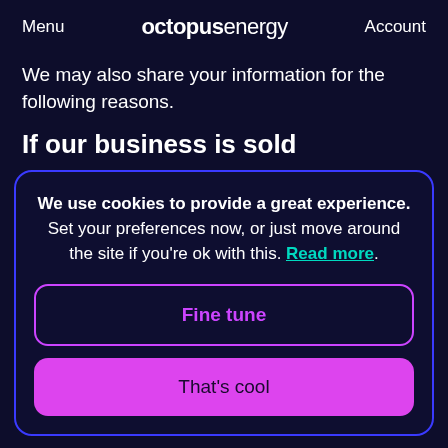Menu  octopus energy  Account
We may also share your information for the following reasons.
If our business is sold
We use cookies to provide a great experience. Set your preferences now, or just move around the site if you're ok with this. Read more.
Fine tune
That's cool